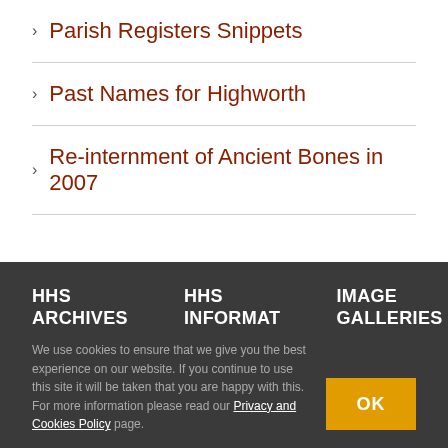> Parish Registers Snippets
> Past Names for Highworth
> Re-internment of Ancient Bones in 2007
HHS ARCHIVES | HHS INFORMAT | IMAGE GALLERIES
We use cookies to ensure that we give you the best experience on our website. If you continue to use this site it will be taken that you are happy with this. For more information please read our Privacy and Cookies Policy page.